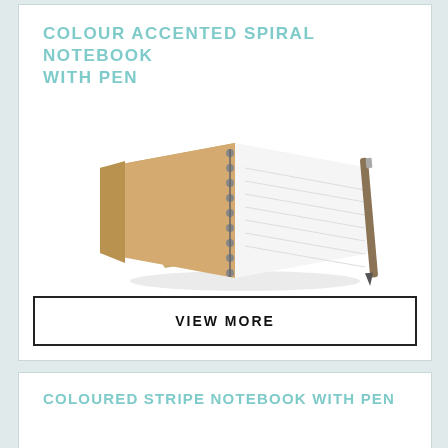COLOUR ACCENTED SPIRAL NOTEBOOK WITH PEN
[Figure (photo): A spiral-bound notebook with kraft/brown cardboard cover, open to show white ruled pages, with a pen tucked along the spiral binding, photographed at an angle on a white background.]
VIEW MORE
COLOURED STRIPE NOTEBOOK WITH PEN